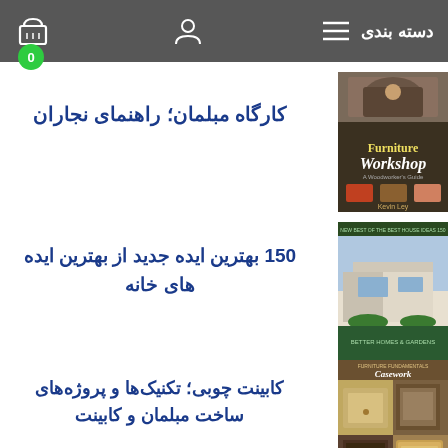دسته بندی
0
کارگاه مبلمان؛ راهنمای نجاران
[Figure (photo): Book cover: Furniture Workshop by Kevin Ley]
150 بهترین ایده جدید از بهترین ایده های خانه
[Figure (photo): Book cover: 150 New Best of the Best House Ideas]
کابینت چوبی؛ تکنیک‌ها و پروژه‌های ساخت مبلمان و کابینت
[Figure (photo): Book cover: Furniture Fundamentals Casework]